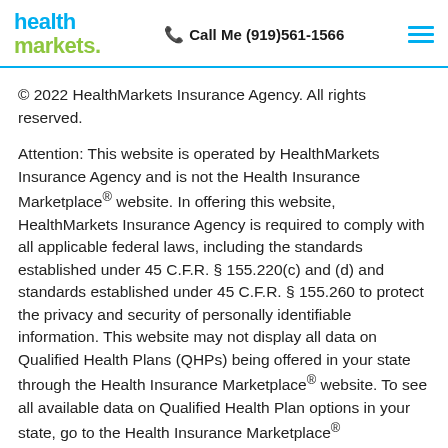health markets | Call Me (919)561-1566
© 2022 HealthMarkets Insurance Agency. All rights reserved.
Attention: This website is operated by HealthMarkets Insurance Agency and is not the Health Insurance Marketplace® website. In offering this website, HealthMarkets Insurance Agency is required to comply with all applicable federal laws, including the standards established under 45 C.F.R. § 155.220(c) and (d) and standards established under 45 C.F.R. § 155.260 to protect the privacy and security of personally identifiable information. This website may not display all data on Qualified Health Plans (QHPs) being offered in your state through the Health Insurance Marketplace® website. To see all available data on Qualified Health Plan options in your state, go to the Health Insurance Marketplace®